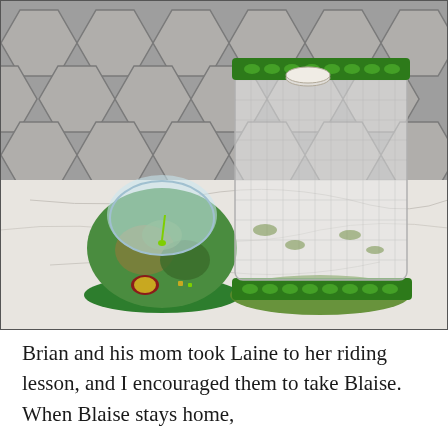[Figure (photo): A photo showing two children's toy/insect habitats on a marble countertop against a hexagonal tile backsplash. On the left is a small green dome-shaped bug habitat toy (appears to be an Ant Farm or similar). On the right is a taller mesh/net butterfly or insect enclosure with green leaf-patterned trim at top and bottom, with what appears to be a small cup inside at the top.]
Brian and his mom took Laine to her riding lesson, and I encouraged them to take Blaise. When Blaise stays home,